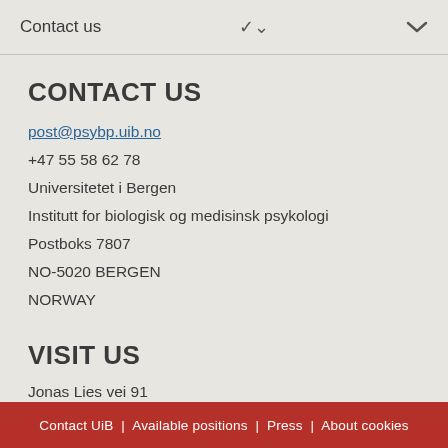Contact us
CONTACT US
post@psybp.uib.no
+47 55 58 62 78
Universitetet i Bergen
Institutt for biologisk og medisinsk psykologi
Postboks 7807
NO-5020 BERGEN
NORWAY
VISIT US
Jonas Lies vei 91
View campus map
Contact UiB | Available positions | Press | About cookies